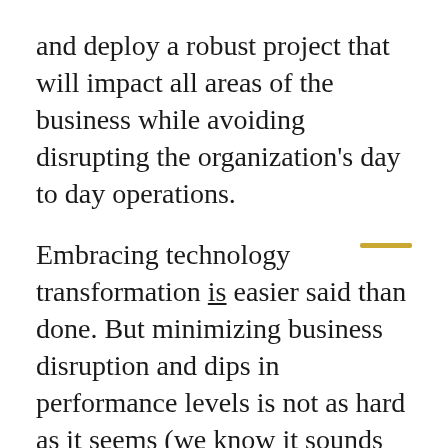and deploy a robust project that will impact all areas of the business while avoiding disrupting the organization's day to day operations.
Embracing technology transformation is easier said than done. But minimizing business disruption and dips in performance levels is not as hard as it seems (we know it sounds too good to be true, but trust us — we wrote a whole book on business technology change). The key is establishing some guidelines to support it.